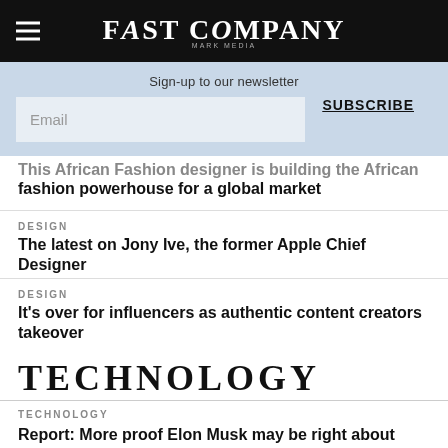FAST COMPANY
Sign-up to our newsletter
Email | SUBSCRIBE
This African Fashion designer is building the African fashion powerhouse for a global market
DESIGN
The latest on Jony Ive, the former Apple Chief Designer
DESIGN
It's over for influencers as authentic content creators takeover
TECHNOLOGY
TECHNOLOGY
Report: More proof Elon Musk may be right about bots on Twitter